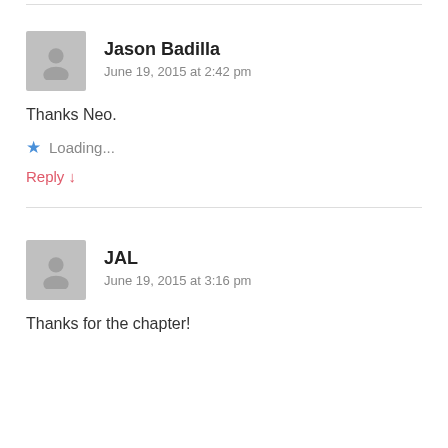Jason Badilla
June 19, 2015 at 2:42 pm
Thanks Neo.
Loading...
Reply ↓
JAL
June 19, 2015 at 3:16 pm
Thanks for the chapter!